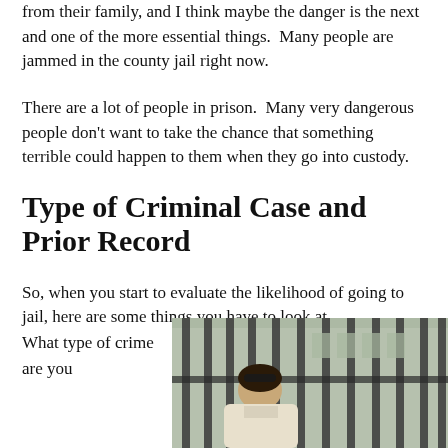from their family, and I think maybe the danger is the next and one of the more essential things.  Many people are jammed in the county jail right now.
There are a lot of people in prison.  Many very dangerous people don't want to take the chance that something terrible could happen to them when they go into custody.
Type of Criminal Case and Prior Record
So, when you start to evaluate the likelihood of going to jail, here are some things you have to look at.
What type of crime are you
[Figure (photo): A man viewed from behind looking through metal jail bars, with building structures visible in the background.]